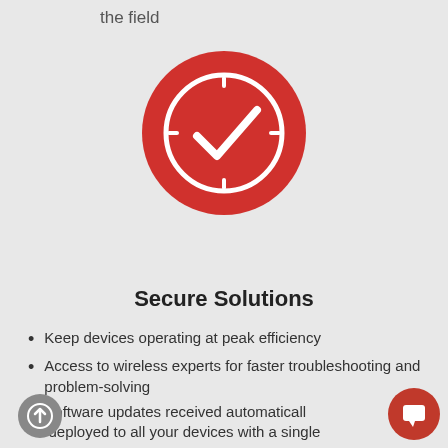the field
[Figure (illustration): Red circle icon with a clock and checkmark overlay — representing secure/timely solutions]
Secure Solutions
Keep devices operating at peak efficiency
Access to wireless experts for faster troubleshooting and problem-solving
Software updates received automatically deployed to all your devices with a single